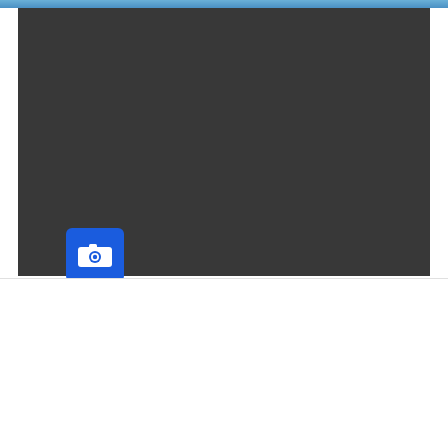[Figure (screenshot): Dark gray video player area with a blue camera button in the lower left]
BOUTIQUE
We use cookies on our website to give you the most relevant experience by remembering your preferences and repeat visits. By clicking “Accept All”, you consent to the use of ALL the cookies. However, you may visit "Cookie Settings" to provide a controlled consent.